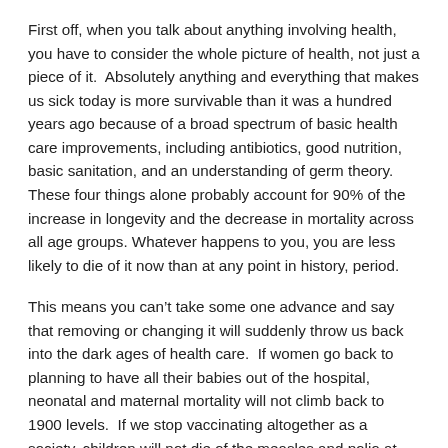First off, when you talk about anything involving health, you have to consider the whole picture of health, not just a piece of it.  Absolutely anything and everything that makes us sick today is more survivable than it was a hundred years ago because of a broad spectrum of basic health care improvements, including antibiotics, good nutrition, basic sanitation, and an understanding of germ theory.  These four things alone probably account for 90% of the increase in longevity and the decrease in mortality across all age groups. Whatever happens to you, you are less likely to die of it now than at any point in history, period.
This means you can't take some one advance and say that removing or changing it will suddenly throw us back into the dark ages of health care.  If women go back to planning to have all their babies out of the hospital, neonatal and maternal mortality will not climb back to 1900 levels.  If we stop vaccinating altogether as a society, children will not die of the measles and polio at 1900 levels.
Socially, culturally, we are not the same society that we were a hundred years ago.  We're not even the same culture as we were in the 1970's when I was born.  The level of acceptance for “others” in our society today is so high it would have been absolutely unbelievable back then.  Information is readily available to anybody in search of it, one way or another, faster, cheaper, more accurately, and more efficiently than